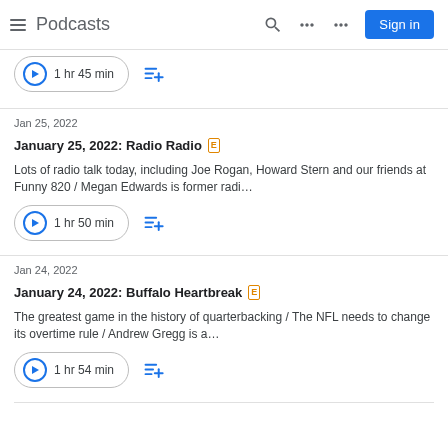Podcasts — Sign in
1 hr 45 min
Jan 25, 2022
January 25, 2022: Radio Radio [E]
Lots of radio talk today, including Joe Rogan, Howard Stern and our friends at Funny 820 / Megan Edwards is former radi…
1 hr 50 min
Jan 24, 2022
January 24, 2022: Buffalo Heartbreak [E]
The greatest game in the history of quarterbacking / The NFL needs to change its overtime rule / Andrew Gregg is a…
1 hr 54 min